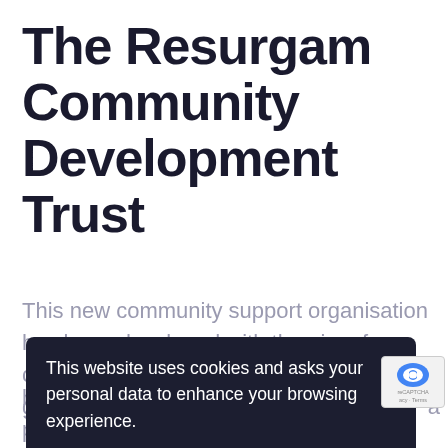The Resurgam Community Development Trust
This new community support organisation has been developed with the aim of connecting individuals,
[Figure (screenshot): Cookie consent popup overlay with dark background. Message reads: 'This website uses cookies and asks your personal data to enhance your browsing experience.' Two buttons: 'OK, I AGREE' (purple) and 'PRIVACY POLICY' (outlined). A reCAPTCHA badge is visible at bottom right.]
building connections and alliances to positively